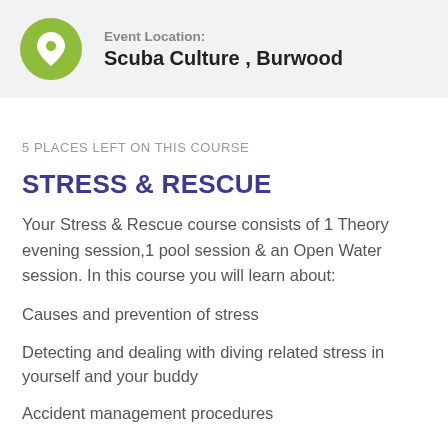Event Location: Scuba Culture , Burwood
5 PLACES LEFT ON THIS COURSE
STRESS & RESCUE
Your Stress & Rescue course consists of 1 Theory evening session,1 pool session & an Open Water session. In this course you will learn about:
Causes and prevention of stress
Detecting and dealing with diving related stress in yourself and your buddy
Accident management procedures